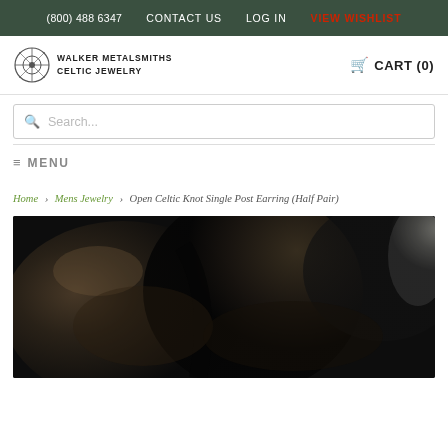(800) 488 6347  CONTACT US  LOG IN  VIEW WISHLIST
WALKER METALSMITHS CELTIC JEWELRY  CART (0)
Search...
≡ MENU
Home > Mens Jewelry > Open Celtic Knot Single Post Earring (Half Pair)
[Figure (photo): Close-up dark photograph of a Celtic knot earring against dark background showing detailed metalwork]